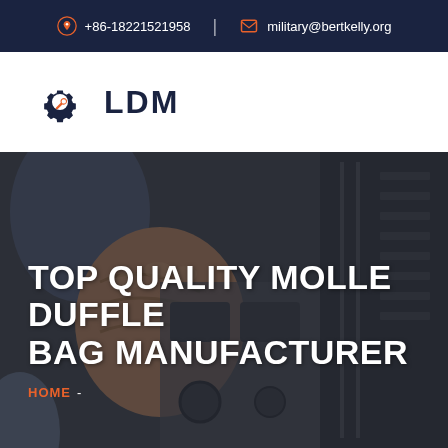+86-18221521958  |  military@bertkelly.org
[Figure (logo): LDM logo with gear and wrench icon in navy and orange, with text 'LDM']
[Figure (photo): Close-up photo of a person's fist/hand near industrial equipment, darkened with overlay]
TOP QUALITY MOLLE DUFFLE BAG MANUFACTURER
HOME -